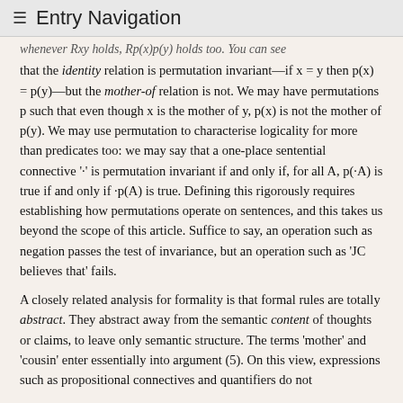≡ Entry Navigation
whenever Rxy holds, Rp(x)p(y) holds too. You can see that the identity relation is permutation invariant—if x = y then p(x) = p(y)—but the mother-of relation is not. We may have permutations p such that even though x is the mother of y, p(x) is not the mother of p(y). We may use permutation to characterise logicality for more than predicates too: we may say that a one-place sentential connective '·' is permutation invariant if and only if, for all A, p(·A) is true if and only if ·p(A) is true. Defining this rigorously requires establishing how permutations operate on sentences, and this takes us beyond the scope of this article. Suffice to say, an operation such as negation passes the test of invariance, but an operation such as 'JC believes that' fails.
A closely related analysis for formality is that formal rules are totally abstract. They abstract away from the semantic content of thoughts or claims, to leave only semantic structure. The terms 'mother' and 'cousin' enter essentially into argument (5). On this view, expressions such as propositional connectives and quantifiers do not